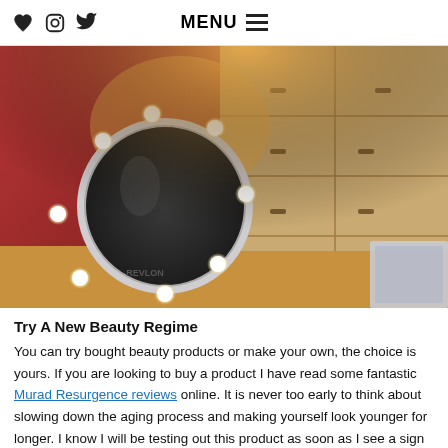MENU ☰
[Figure (photo): A Revlon lighted vanity makeup mirror with multiple round bulbs illuminated, placed on a wooden surface next to a wooden drawer unit, against a red/pink wall with warm lighting.]
Try A New Beauty Regime
You can try bought beauty products or make your own, the choice is yours. If you are looking to buy a product I have read some fantastic Murad Resurgence reviews online. It is never too early to think about slowing down the aging process and making yourself look younger for longer. I know I will be testing out this product as soon as I see a sign